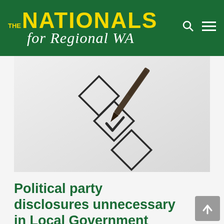THE NATIONALS for Regional WA
[Figure (photo): Close-up photo of a pen checking a checkbox on a paper form, showing three diamond-shaped checkboxes with the middle one being ticked]
Political party disclosures unnecessary in Local Government